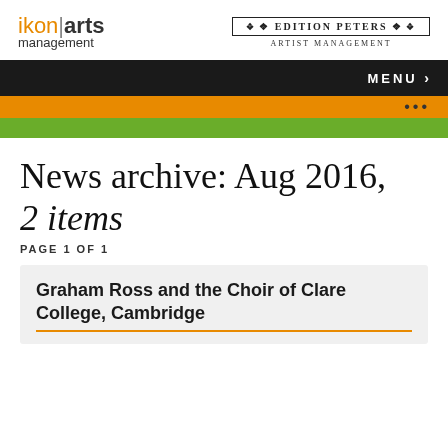[Figure (logo): ikon arts management logo in orange and black]
[Figure (logo): Edition Peters Artist Management logo with decorative badge]
MENU ›
•••
News archive: Aug 2016, 2 items
PAGE 1 OF 1
Graham Ross and the Choir of Clare College, Cambridge